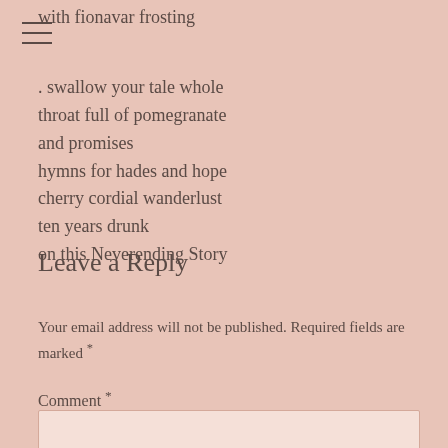with fionavar frosting
. swallow your tale whole
throat full of pomegranate
and promises
hymns for hades and hope
cherry cordial wanderlust
ten years drunk
on this Neverending Story
Leave a Reply
Your email address will not be published. Required fields are marked *
Comment *